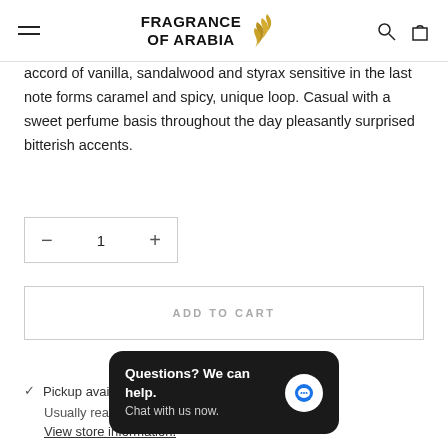Fragrance of Arabia
accord of vanilla, sandalwood and styrax sensitive in the last note forms caramel and spicy, unique loop. Casual with a sweet perfume basis throughout the day pleasantly surprised bitterish accents.
− 1 +
ADD TO CART
✓ Pickup available
Usually ready in
View store information.
Questions? We can help.
Chat with us now.